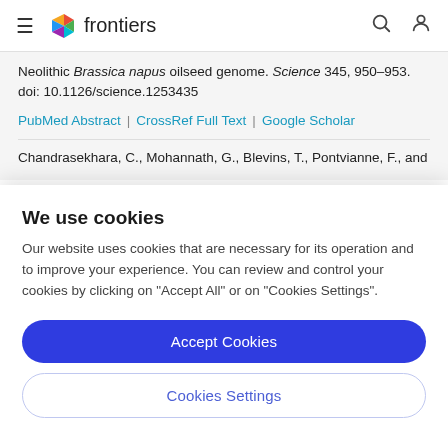frontiers
Neolithic Brassica napus oilseed genome. Science 345, 950–953. doi: 10.1126/science.1253435
PubMed Abstract | CrossRef Full Text | Google Scholar
Chandrasekhara, C., Mohannath, G., Blevins, T., Pontvianne, F., and
We use cookies
Our website uses cookies that are necessary for its operation and to improve your experience. You can review and control your cookies by clicking on "Accept All" or on "Cookies Settings".
Accept Cookies
Cookies Settings